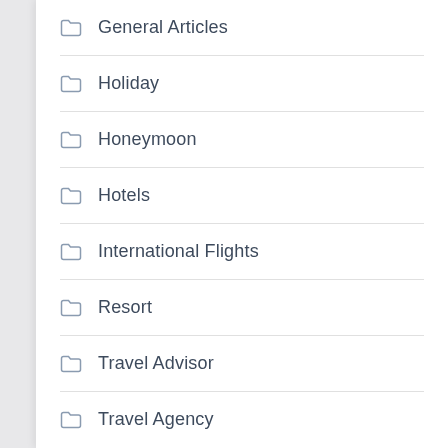General Articles
Holiday
Honeymoon
Hotels
International Flights
Resort
Travel Advisor
Travel Agency